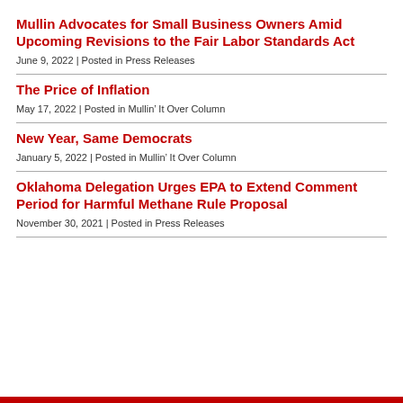Mullin Advocates for Small Business Owners Amid Upcoming Revisions to the Fair Labor Standards Act
June 9, 2022 | Posted in Press Releases
The Price of Inflation
May 17, 2022 | Posted in Mullin’ It Over Column
New Year, Same Democrats
January 5, 2022 | Posted in Mullin’ It Over Column
Oklahoma Delegation Urges EPA to Extend Comment Period for Harmful Methane Rule Proposal
November 30, 2021 | Posted in Press Releases